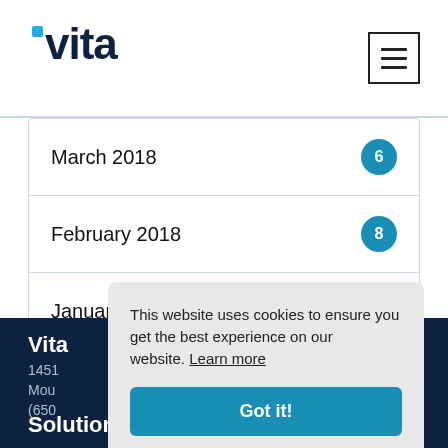vita
March 2018  6
February 2018  8
January 2018  13
Vita
1451
Mountain View
(650)
Solutions
This website uses cookies to ensure you get the best experience on our website. Learn more
Got it!